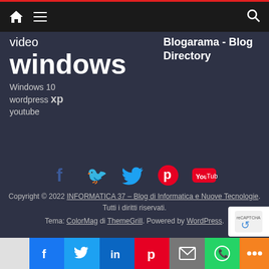Navigation bar with home, menu, and search icons
video
windows
Windows 10
wordpress xp
youtube
Blogarama - Blog Directory
[Figure (logo): Social media icons: Facebook (f), Twitter (bird), Pinterest (p), YouTube (play button)]
Copyright © 2022 INFORMATICA 37 – Blog di Informatica e Nuove Tecnologie. Tutti i diritti riservati.
Tema: ColorMag di ThemeGrill. Powered by WordPress.
Share bar with Facebook, Twitter, LinkedIn, Pinterest, Mail, WhatsApp, More